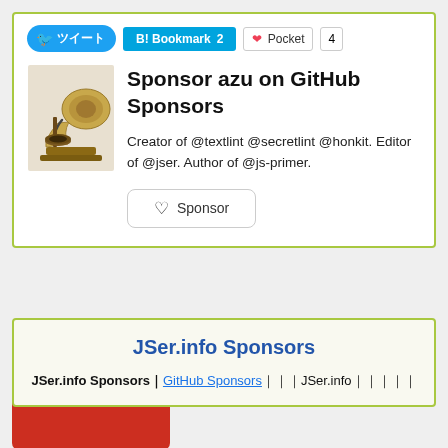[Figure (screenshot): Share bar with Twitter button showing Japanese text, B! Bookmark 2 button, and Pocket button with count 4]
[Figure (illustration): Gramophone/phonograph illustration used as GitHub Sponsors avatar]
Sponsor azu on GitHub Sponsors
Creator of @textlint @secretlint @honkit. Editor of @jser. Author of @js-primer.
♡ Sponsor
[Figure (screenshot): Red button with Japanese text ほかにもあるよ]
JSer.info Sponsors
JSer.info Sponsors｜GitHub Sponsors｜｜｜JSer.info｜｜｜｜｜